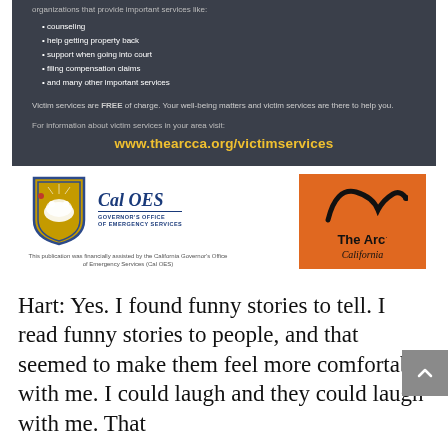organizations that provide important services like:
counseling
help getting property back
support when going into court
filing compensation claims
and many other important services
Victim services are FREE of charge. Your well-being matters and victim services are there to help you.
For information about victim services in your area visit:
www.thearcca.org/victimservices
[Figure (logo): Cal OES Governor's Office of Emergency Services logo with shield and bear emblem]
This publication was financially assisted by the California Governor's Office of Emergency Services (Cal OES)
[Figure (logo): The Arc California logo on orange background]
Hart: Yes. I found funny stories to tell. I read funny stories to people, and that seemed to make them feel more comfortable with me. I could laugh and they could laugh with me. That